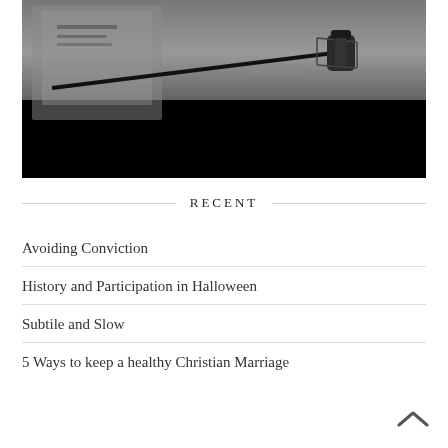[Figure (photo): A dark studio photo showing a microphone on a boom arm stand against a grey/dark background]
RECENT
Avoiding Conviction
History and Participation in Halloween
Subtile and Slow
5 Ways to keep a healthy Christian Marriage